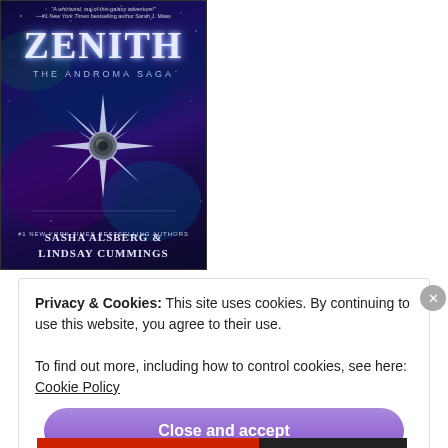[Figure (illustration): Book cover of 'Zenith: The Androma Saga' by Sasha Alsberg & Lindsay Cummings. Dark space-themed cover with deep blue and purple nebula background, stars, and a silver spiky star/compass emblem in the center. Text at top reads quote from Sarah J. Maas. Title 'ZENITH' in large silver letters, subtitle 'THE ANDROMA SAGA', authors listed at bottom as '#1 New York Times Bestselling Authors SASHA ALSBERG & LINDSAY CUMMINGS'.]
Privacy & Cookies: This site uses cookies. By continuing to use this website, you agree to their use.
To find out more, including how to control cookies, see here: Cookie Policy
Close and accept